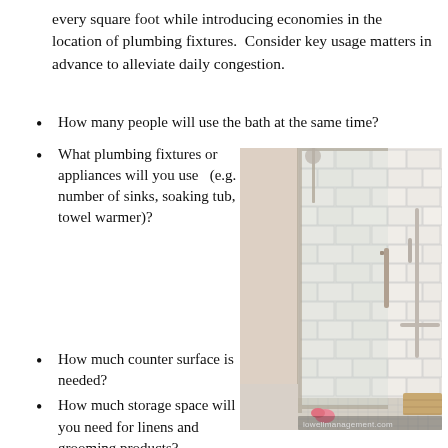every square foot while introducing economies in the location of plumbing fixtures.  Consider key usage matters in advance to alleviate daily congestion.
How many people will use the bath at the same time?
What plumbing fixtures or appliances will you use   (e.g. number of sinks, soaking tub, towel warmer)?
How much counter surface is needed?
How much storage space will you need for linens and grooming products?
How many electric outlets are needed and what location
[Figure (photo): Photo of a walk-in shower with glass door, white subway tile walls, chrome grab bars and handheld showerhead, mosaic tile floor, and a wood bench in the corner. Pink shoe visible on floor. Watermark reads lowellmanagement.com]